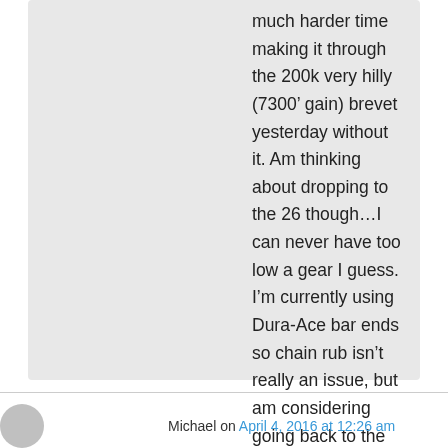much harder time making it through the 200k very hilly (7300' gain) brevet yesterday without it. Am thinking about dropping to the 26 though…I can never have too low a gear I guess. I'm currently using Dura-Ace bar ends so chain rub isn't really an issue, but am considering going back to the stock brifters so I'll keep in mind the M785 front mech.

Kevin
Like
Michael on April 4, 2016 at 12:26 am